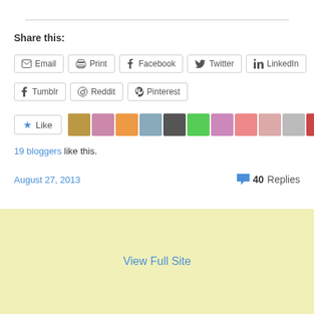Share this:
Email | Print | Facebook | Twitter | LinkedIn
Tumblr | Reddit | Pinterest
Like | 19 bloggers like this.
August 27, 2013    40 Replies
View Full Site